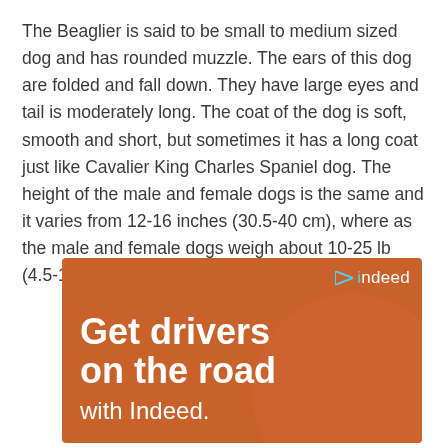The Beaglier is said to be small to medium sized dog and has rounded muzzle. The ears of this dog are folded and fall down. They have large eyes and tail is moderately long. The coat of the dog is soft, smooth and short, but sometimes it has a long coat just like Cavalier King Charles Spaniel dog. The height of the male and female dogs is the same and it varies from 12-16 inches (30.5-40 cm), where as the male and female dogs weigh about 10-25 lb (4.5-11.6 kg).
[Figure (infographic): Indeed advertisement with orange background showing 'Get drivers on the road with Indeed.' text and the Indeed logo in the top-right corner.]